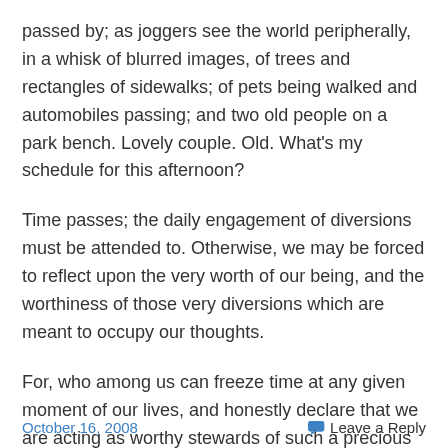passed by; as joggers see the world peripherally, in a whisk of blurred images, of trees and rectangles of sidewalks; of pets being walked and automobiles passing; and two old people on a park bench. Lovely couple. Old. What's my schedule for this afternoon?
Time passes; the daily engagement of diversions must be attended to. Otherwise, we may be forced to reflect upon the very worth of our being, and the worthiness of those very diversions which are meant to occupy our thoughts.
For, who among us can freeze time at any given moment of our lives, and honestly declare that we are acting as worthy stewards of such a precious commodity?
October 16, 2008    Leave a Reply